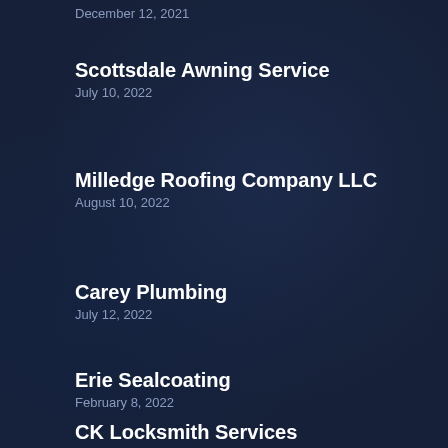December 12, 2021
Scottsdale Awning Service
July 10, 2022
Milledge Roofing Company LLC
August 10, 2022
Carey Plumbing
July 12, 2022
Erie Sealcoating
February 8, 2022
CK Locksmith Services
December 28, 2021